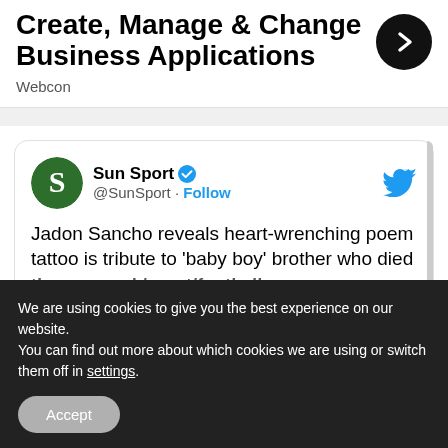Create, Manage & Change Business Applications
Webcon
[Figure (screenshot): Tweet from Sun Sport (@SunSport) with verified badge. Tweet text: 'Jadon Sancho reveals heart-wrenching poem tattoo is tribute to ‘baby boy’ brother who died' with a partial URL visible below.]
We are using cookies to give you the best experience on our website.
You can find out more about which cookies we are using or switch them off in settings.
Accept